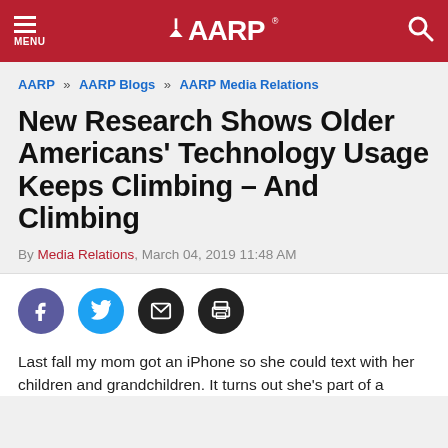AARP
AARP » AARP Blogs » AARP Media Relations
New Research Shows Older Americans' Technology Usage Keeps Climbing – And Climbing
By Media Relations, March 04, 2019 11:48 AM
[Figure (infographic): Social sharing icons: Facebook, Twitter, Email, Print]
Last fall my mom got an iPhone so she could text with her children and grandchildren. It turns out she's part of a